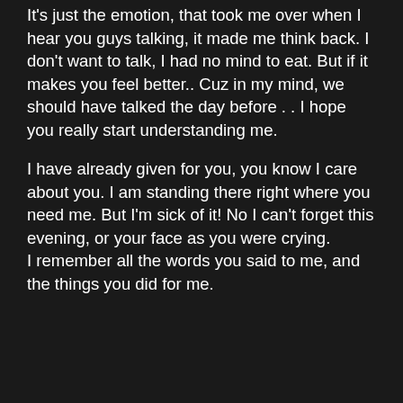It's just the emotion, that took me over when I hear you guys talking, it made me think back. I don't want to talk, I had no mind to eat. But if it makes you feel better.. Cuz in my mind, we should have talked the day before . . I hope you really start understanding me.
I have already given for you, you know I care about you. I am standing there right where you need me. But I'm sick of it! No I can't forget this evening, or your face as you were crying.
I remember all the words you said to me, and the things you did for me.